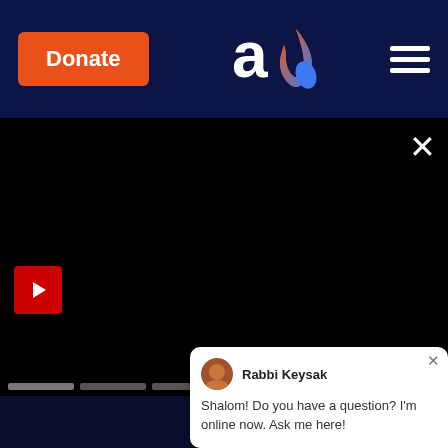Donate | Aish.com logo | Hamburger menu
[Figure (screenshot): Black video player area with play button, X close button, READ MORE button and progress dots]
Submit Articles
Aish Privacy Policy
Advertise
Email Subscriptions
Email Sign-up
Manage Your Emails
Donate
Aish.com Website
Aish Jerusalem
Planned Giving
Shop Aish
Languages
Spanish
Rabbi Keysak
Shalom! Do you have a question? I'm online now. Ask me here!